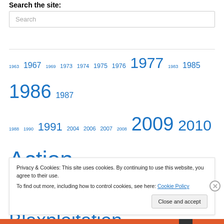Search the site:
Search
1963 1967 1969 1973 1974 1975 1976 1977 1983 1985 1986 1987 1988 1990 1991 2004 2006 2007 2008 2009 2010 Action A Fistful of Djangos Alexander Fu Sheng Blaxploitation Blue Demon Bruceploitation Chang Cheh Charles Band Chen Kuan-Tai Comedy
Privacy & Cookies: This site uses cookies. By continuing to use this website, you agree to their use.
To find out more, including how to control cookies, see here: Cookie Policy
Close and accept